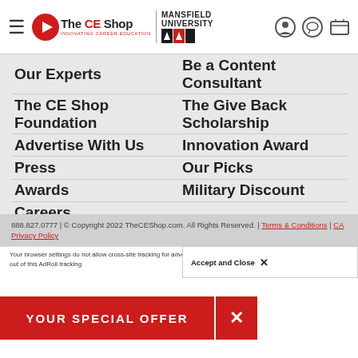The CE Shop Mansfield University — navigation header with hamburger menu, logo, and icons
Our Experts
Be a Content Consultant
The CE Shop Foundation
The Give Back Scholarship
Advertise With Us
Innovation Award
Press
Our Picks
Awards
Military Discount
Careers
Social Media
888.827.0777 | © Copyright 2022 TheCEShop.com. All Rights Reserved. | Terms & Conditions | CA Privacy Policy
Your browser settings do not allow cross-site tracking for advertising. Click on this page to allow ou. Learn more or opt out of this AdRoll tracking
Accept and Close ✕
YOUR SPECIAL OFFER  ✕